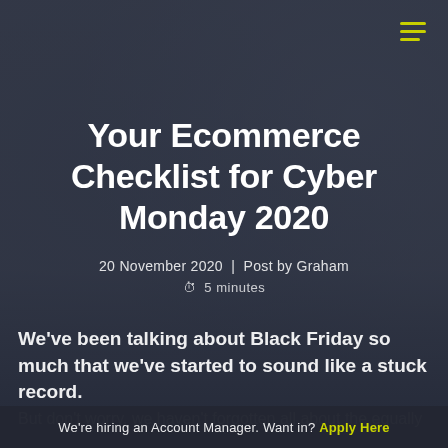[Figure (photo): Dark blue-grey background with blurred tech/electronics items visible behind overlay, used as hero image for blog post]
Your Ecommerce Checklist for Cyber Monday 2020
20 November 2020  |  Post by Graham
⏱ 5 minutes
We've been talking about Black Friday so much that we've started to sound like a stuck record.
But don't worry, we haven't forgotten all about the equally
We're hiring an Account Manager. Want in? Apply Here